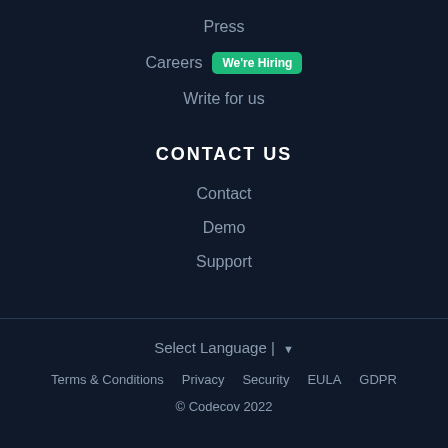Press
Careers We're Hiring
Write for us
CONTACT US
Contact
Demo
Support
Select Language | ▼
Terms & Conditions   Privacy   Security   EULA   GDPR
© Codecov 2022